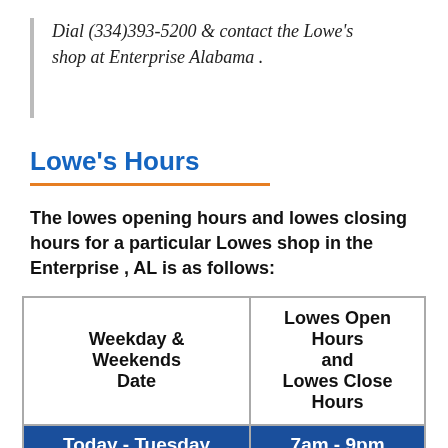Dial (334)393-5200 & contact the Lowe’s shop at Enterprise Alabama .
Lowe’s Hours
The lowes opening hours and lowes closing hours for a particular Lowes shop in the Enterprise , AL is as follows:
| Weekday & Weekends Date | Lowes Open Hours and Lowes Close Hours |
| --- | --- |
| Today - Tuesday | 7am - 9pm |